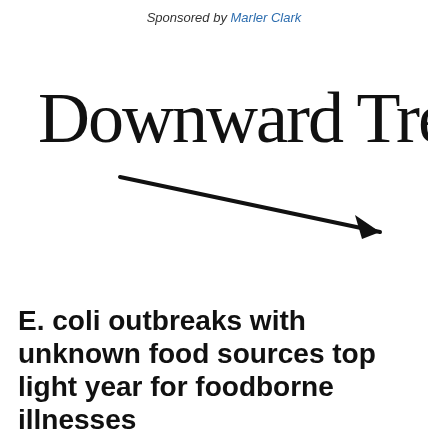Sponsored by Marler Clark
[Figure (illustration): Handwritten text 'Downward Trend' in cursive black ink, with a diagonal arrow below it pointing from upper-left to lower-right, indicating a downward trend.]
E. coli outbreaks with unknown food sources top light year for foodborne illnesses